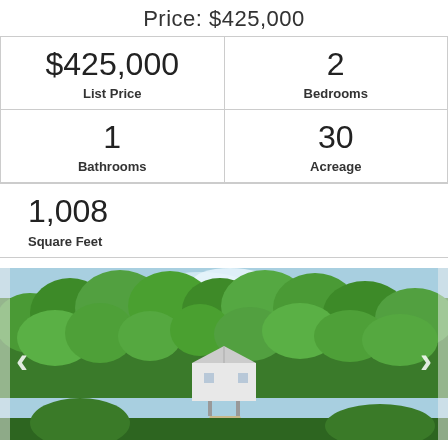Price: $425,000
| $425,000
List Price | 2
Bedrooms |
| 1
Bathrooms | 30
Acreage |
1,008
Square Feet
[Figure (photo): Aerial/elevated view of a house surrounded by dense green trees, with a barn-style structure visible. Navigation arrows on left and right sides of the image.]